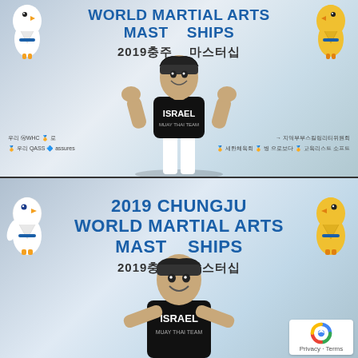[Figure (photo): Top photo: An athlete wearing a black 'ISRAEL' t-shirt posing with fists raised in front of a 'World Martial Arts Masterships' banner and Korean text '2019충주 마스터십', with mascot characters on either side.]
[Figure (photo): Bottom photo: The same athlete in a black 'ISRAEL' t-shirt smiling in front of a '2019 Chungju World Martial Arts Masterships' banner and Korean text '2019충주 마스터십', with mascot characters on sides. A reCAPTCHA 'Privacy · Terms' badge is visible in the bottom-right corner.]